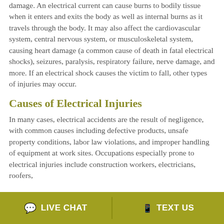damage. An electrical current can cause burns to bodily tissue when it enters and exits the body as well as internal burns as it travels through the body. It may also affect the cardiovascular system, central nervous system, or musculoskeletal system, causing heart damage (a common cause of death in fatal electrical shocks), seizures, paralysis, respiratory failure, nerve damage, and more. If an electrical shock causes the victim to fall, other types of injuries may occur.
Causes of Electrical Injuries
In many cases, electrical accidents are the result of negligence, with common causes including defective products, unsafe property conditions, labor law violations, and improper handling of equipment at work sites. Occupations especially prone to electrical injuries include construction workers, electricians, roofers,
LIVE CHAT   TEXT US